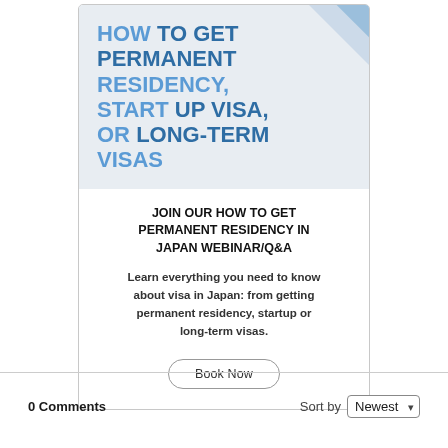[Figure (infographic): Advertisement card for a webinar about permanent residency, startup visa, or long-term visas in Japan. Top section has blue title text on light grey background with a decorative corner accent. Body section contains webinar heading, description text, and a 'Book Now' button.]
0 Comments
Sort by Newest